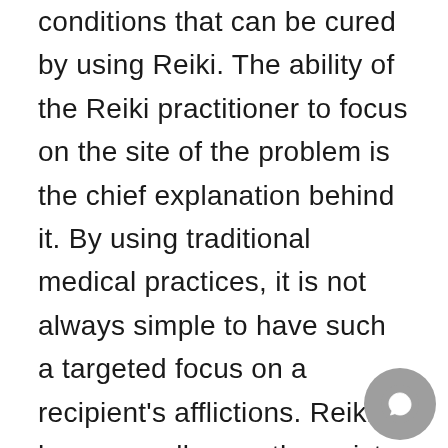conditions that can be cured by using Reiki. The ability of the Reiki practitioner to focus on the site of the problem is the chief explanation behind it. By using traditional medical practices, it is not always simple to have such a targeted focus on a recipient's afflictions. Reiki however, allows a therapist to battle the particular problems which a patient is dealing with. That is the reason why many people decide to merge conventional medical solutions with Rei
[Figure (other): WhatsApp or chat floating button icon (circular gray button with chat/phone icon)]